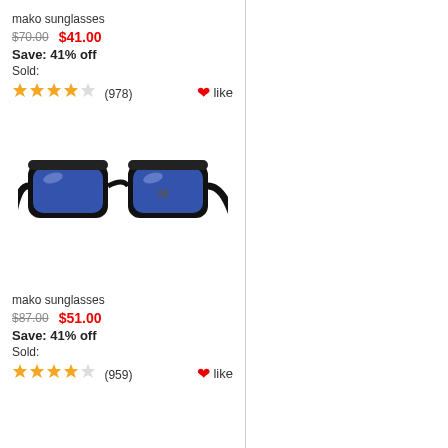mako sunglasses
$70.00  $41.00
Save: 41% off
Sold:
★★★★☆ (978)   ♥like
[Figure (photo): Black frame mako sunglasses with blue lenses, viewed from the side at an angle]
mako sunglasses
$87.00  $51.00
Save: 41% off
Sold:
★★★★☆ (959)   ♥like